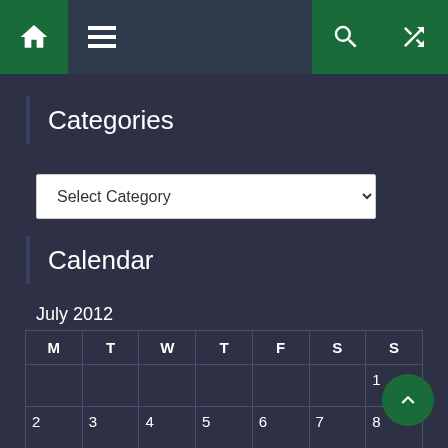[Figure (screenshot): Navigation bar with home icon (green), hamburger menu, search icon (green), shuffle icon (green)]
Categories
[Figure (screenshot): Select Category dropdown input]
Calendar
July 2012
| M | T | W | T | F | S | S |
| --- | --- | --- | --- | --- | --- | --- |
|  |  |  |  |  |  | 1 |
| 2 | 3 | 4 | 5 | 6 | 7 | 8 |